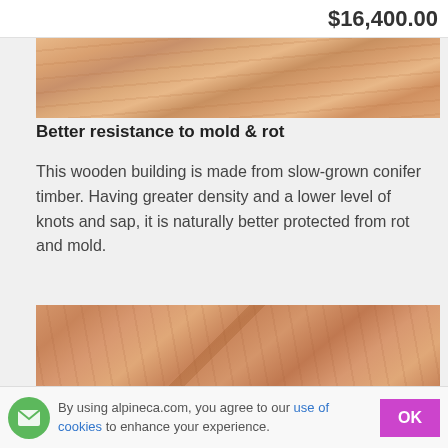$16,400.00
[Figure (photo): Close-up photo of light-colored wood planks showing grain texture, partially visible at top of page]
Better resistance to mold & rot
This wooden building is made from slow-grown conifer timber. Having greater density and a lower level of knots and sap, it is naturally better protected from rot and mold.
[Figure (photo): Close-up photo of wooden log cabin construction showing interlocking timber corners and wood grain detail]
By using alpineca.com, you agree to our use of cookies to enhance your experience.